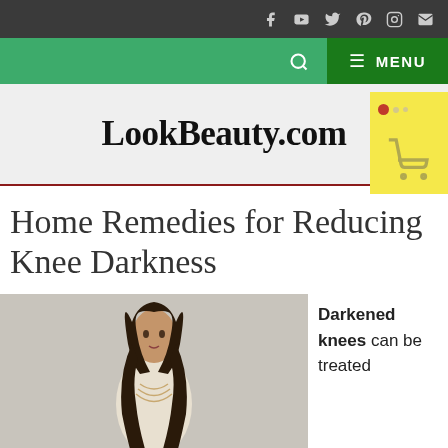Social icons bar (Facebook, YouTube, Twitter, Pinterest, Instagram, Email)
Navigation bar with search icon and MENU button
LookBeauty.com
Home Remedies for Reducing Knee Darkness
[Figure (photo): Woman with long dark hair wearing a cream/white outfit, photographed against a light gray background]
Darkened knees can be treated